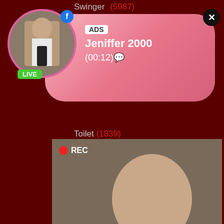Swinger (5987)
[Figure (screenshot): Ad banner with profile photo, LIVE badge, ADS label, name Jeniffer 2000, timer (00:12), close button]
[Figure (screenshot): Video ad block with REC indicator, person photo, ADS Dating for men text, Find bad girls here]
Toilet (1839)
Toys (89383)
Transsexual (186399)
Turkish (1691)
U